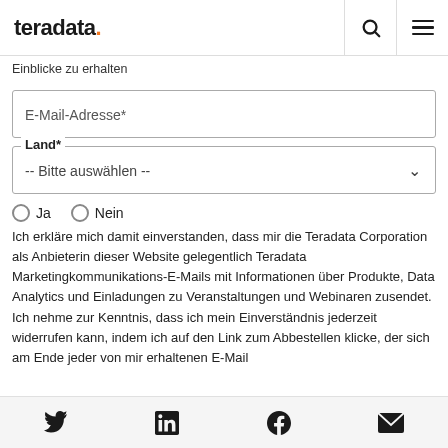teradata.
Einblicke zu erhalten
E-Mail-Adresse*
Land* -- Bitte auswählen --
Ja
Nein
Ich erkläre mich damit einverstanden, dass mir die Teradata Corporation als Anbieterin dieser Website gelegentlich Teradata Marketingkommunikations-E-Mails mit Informationen über Produkte, Data Analytics und Einladungen zu Veranstaltungen und Webinaren zusendet. Ich nehme zur Kenntnis, dass ich mein Einverständnis jederzeit widerrufen kann, indem ich auf den Link zum Abbestellen klicke, der sich am Ende jeder von mir erhaltenen E-Mail
Twitter LinkedIn Facebook Email